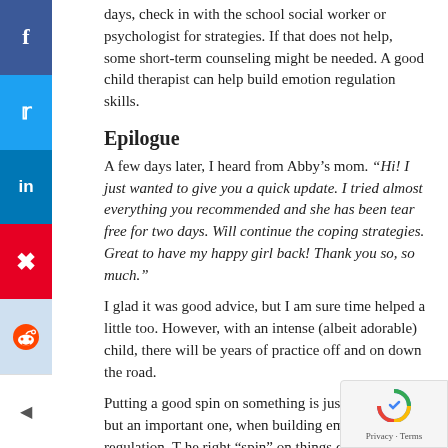days, check in with the school social worker or psychologist for strategies. If that does not help, some short-term counseling might be needed. A good child therapist can help build emotion regulation skills.
Epilogue
A few days later, I heard from Abby's mom. “Hi! I just wanted to give you a quick update. I tried almost everything you recommended and she has been tear free for two days. Will continue the coping strategies. Great to have my happy girl back! Thank you so, so much.”
I glad it was good advice, but I am sure time helped a little too. However, with an intense (albeit adorable) child, there will be years of practice off and on down the road.
Putting a good spin on something is just one strategy, but an important one, when building emotion regulation. The right “spin” on things can help her move forward more quickly.